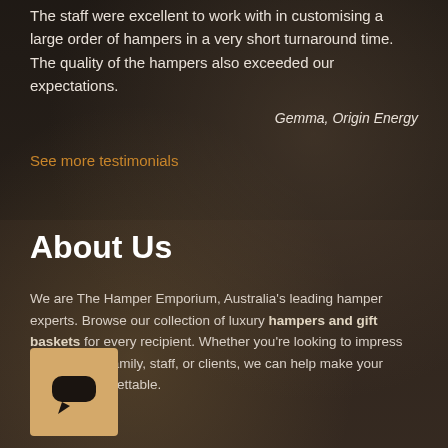The staff were excellent to work with in customising a large order of hampers in a very short turnaround time. The quality of the hampers also exceeded our expectations.
Gemma, Origin Energy
See more testimonials
About Us
We are The Hamper Emporium, Australia's leading hamper experts. Browse our collection of luxury hampers and gift baskets for every recipient. Whether you're looking to impress your friends, family, staff, or clients, we can help make your gesture unforgettable.
[Figure (logo): Chat icon on a tan/beige square background showing a speech bubble with a dark rounded rectangle inside and a small tail at the bottom]